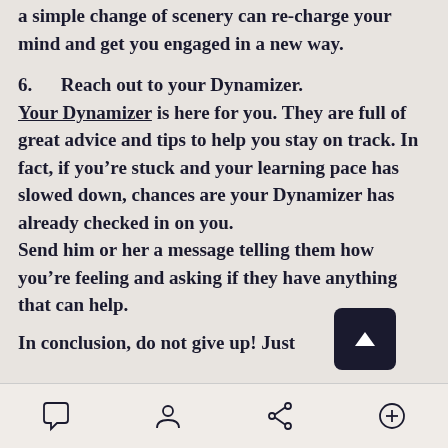a simple change of scenery can recharge your mind and get you engaged in a new way.
6.     Reach out to your Dynamizer. Your Dynamizer is here for you. They are full of great advice and tips to help you stay on track. In fact, if you’re stuck and your learning pace has slowed down, chances are your Dynamizer has already checked in on you.
Send him or her a message telling them how you’re feeling and asking if they have anything that can help.
In conclusion, do not give up! Just
navigation bar with chat, profile, share, and add icons